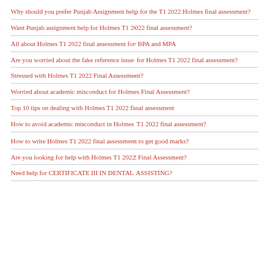Why should you prefer Punjab Assignment help for the T1 2022 Holmes final assessment?
Want Punjab assignment help for Holmes T1 2022 final assessment?
All about Holmes T1 2022 final assessment for BPA and MPA
Are you worried about the fake reference issue for Holmes T1 2022 final assessment?
Stressed with Holmes T1 2022 Final Assessment?
Worried about academic misconduct for Holmes Final Assessment?
Top 10 tips on dealing with Holmes T1 2022 final assessment
How to avoid academic misconduct in Holmes T1 2022 final assessment?
How to write Holmes T1 2022 final assessment to get good marks?
Are you looking for help with Holmes T1 2022 Final Assessment?
Need help for CERTIFICATE III IN DENTAL ASSISTING?